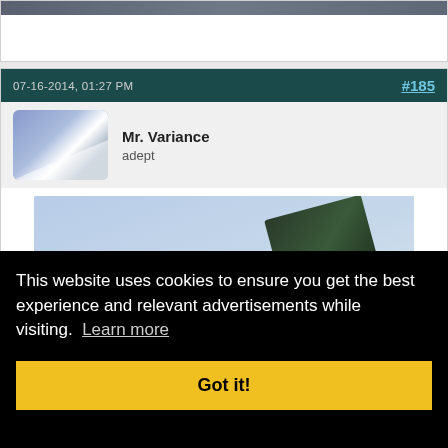[Figure (screenshot): Partial top of a forum post card showing a cropped image strip (dark blue/grey tones) at the very top of the page, with white card body below.]
07-16-2014, 01:27 PM
#185
[Figure (photo): User avatar for Mr. Variance — a blue-grey rounded square avatar image.]
Mr. Variance
adept
[Figure (photo): Forum post embedded image showing a street sign against a blue sky background, partially visible.]
This website uses cookies to ensure you get the best experience and relevant advertisements while visiting.  Learn more
Got it!
[Figure (photo): Bottom strip showing the very top of another image, dark tones.]